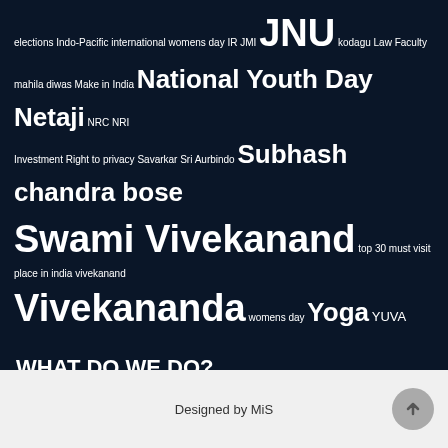elections Indo-Pacific international womens day IR JMI JNU kodagu Law Faculty mahila diwas Make in India National Youth Day Netaji NRC NRI Investment Right to privacy Savarkar Sri Aurbindo Subhash chandra bose Swami Vivekanand top 30 must visit place in india vivekanand Vivekananda womens day Yoga YUVA
WHAT DO WE DO?
We spread awesomeness everywhere.
Designed by MiS